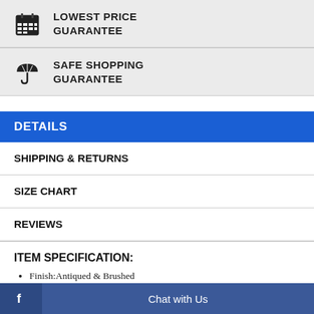[Figure (logo): Calendar icon for Lowest Price Guarantee]
LOWEST PRICE GUARANTEE
[Figure (logo): Umbrella icon for Safe Shopping Guarantee]
SAFE SHOPPING GUARANTEE
DETAILS
SHIPPING & RETURNS
SIZE CHART
REVIEWS
ITEM SPECIFICATION:
Finish:Antiqued & Brushed
Length of Item:24 in
Material: Accent Color 1:Grey
Chain Le...
Chat with Us